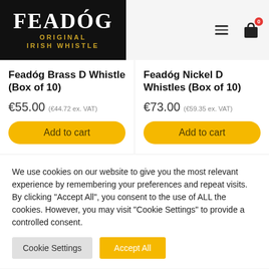[Figure (logo): Feadóg Original Irish Whistle logo — white serif text on black background with gold subtitle]
Feadóg Brass D Whistle (Box of 10)
€55.00 (€44.72 ex. VAT)
Feadóg Nickel D Whistles (Box of 10)
€73.00 (€59.35 ex. VAT)
We use cookies on our website to give you the most relevant experience by remembering your preferences and repeat visits. By clicking "Accept All", you consent to the use of ALL the cookies. However, you may visit "Cookie Settings" to provide a controlled consent.